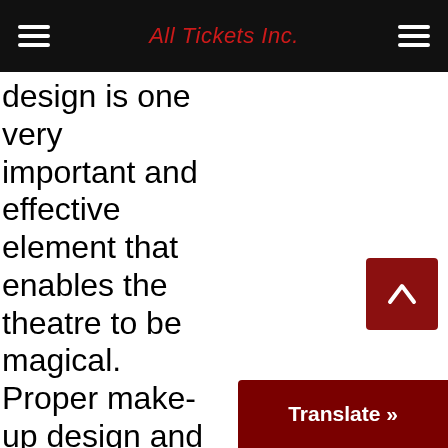All Tickets Inc.
design is one very important and effective element that enables the theatre to be magical. Proper make-up design and application can define character, create a new world, and